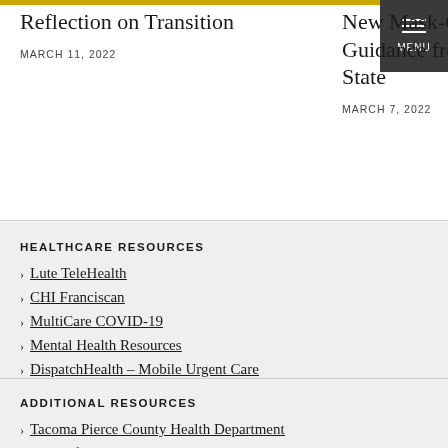Reflection on Transition
MARCH 11, 2022
New Mask-Optional Guidance from Washington State
MARCH 7, 2022
HEALTHCARE RESOURCES
Lute TeleHealth
CHI Franciscan
MultiCare COVID-19
Mental Health Resources
DispatchHealth – Mobile Urgent Care
ADDITIONAL RESOURCES
Tacoma Pierce County Health Department
Center for Disease Control
World Health Organization